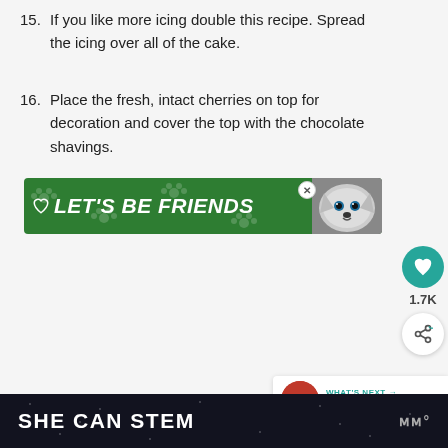15. If you like more icing double this recipe. Spread the icing over all of the cake.
16. Place the fresh, intact cherries on top for decoration and cover the top with the chocolate shavings.
[Figure (other): Green advertisement banner reading LET'S BE FRIENDS with a husky dog image]
[Figure (other): Teal circular like/heart button with count 1.7K and a share button below]
[Figure (other): WHAT'S NEXT card showing Jollof Rice thumbnail]
SHE CAN STEM